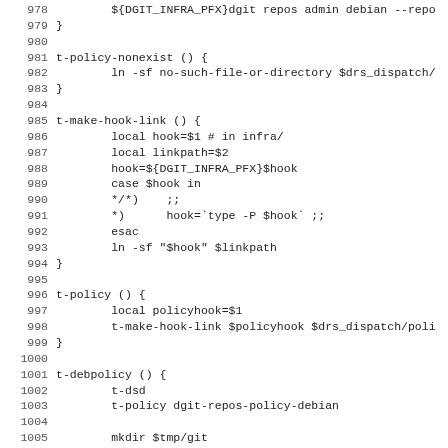Code listing lines 978-1010, shell script functions including t-policy-nonexist, t-make-hook-link, t-policy, t-debpolicy, t-policy-periodic
[Figure (screenshot): Shell script source code with line numbers 978-1010 showing function definitions]